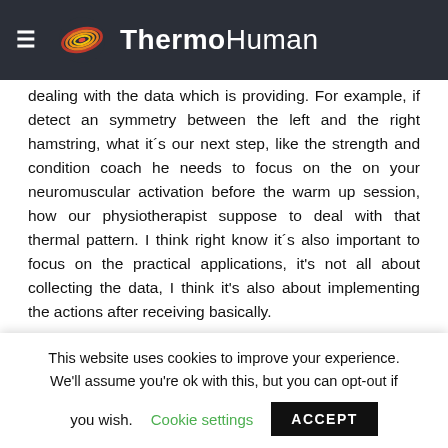ThermoHuman
dealing with the data which is providing. For example, if detect an symmetry between the left and the right hamstring, what it´s our next step, like the strength and condition coach he needs to focus on the on your neuromuscular activation before the warm up session, how our physiotherapist suppose to deal with that thermal pattern. I think right know it´s also important to focus on the practical applications, it's not all about collecting the data, I think it's also about implementing the actions after receiving basically.
I: Instructions based on the results to help professionals
This website uses cookies to improve your experience. We'll assume you're ok with this, but you can opt-out if you wish. Cookie settings ACCEPT